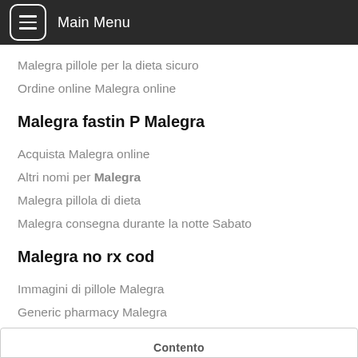Main Menu
Malegra pillole per la dieta sicuro
Ordine online Malegra online
Malegra fastin P Malegra
Acquista Malegra online
Altri nomi per Malegra
Malegra pillola di dieta
Malegra consegna durante la notte Sabato
Malegra no rx cod
Immagini di pillole Malegra
Generic pharmacy Malegra
Malegra P consegnato il giorno successivo
Malegra no rx durante la notte
Contento